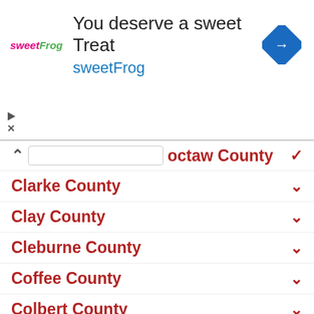[Figure (infographic): sweetFrog advertisement banner: logo with 'sweetFrog' text in pink and green italic, headline 'You deserve a sweet Treat', subtitle 'sweetFrog' in blue, blue diamond navigation icon on right, play and close controls on left]
Choctaw County
Clarke County
Clay County
Cleburne County
Coffee County
Colbert County
Conecuh County
Coosa County
Covington County
Crenshaw County